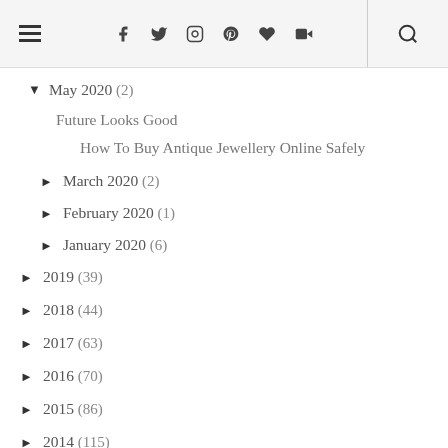≡ f t ☷ p ♥ ▶ 🔍
▼ May 2020 (2)
Future Looks Good
How To Buy Antique Jewellery Online Safely
► March 2020 (2)
► February 2020 (1)
► January 2020 (6)
► 2019 (39)
► 2018 (44)
► 2017 (63)
► 2016 (70)
► 2015 (86)
► 2014 (115)
► 2013 (115)